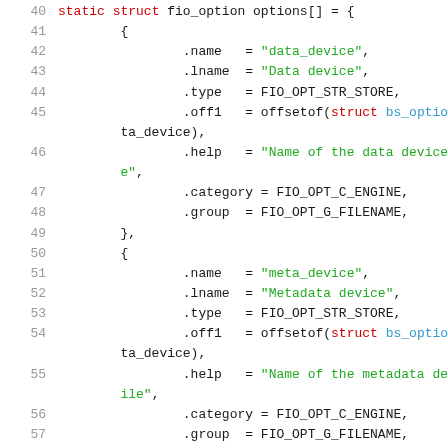Source code listing lines 40-58: C struct fio_option options[] initialization with data_device and meta_device entries